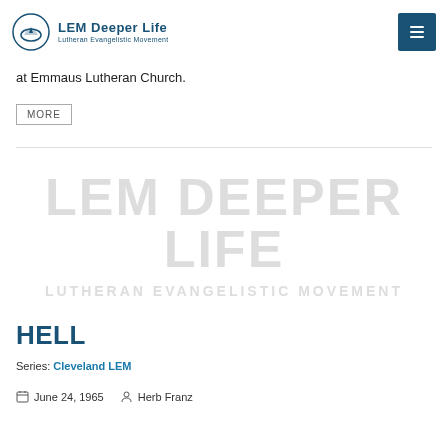LEM Deeper Life — Lutheran Evangelistic Movement
at Emmaus Lutheran Church.
MORE
[Figure (logo): LEM Deeper Life watermark logo with text 'LEM DEEPER LIFE' and 'LUTHERAN EVANGELISTIC MOVEMENT' displayed as a large light gray watermark image]
HELL
Series: Cleveland LEM
June 24, 1965   Herb Franz